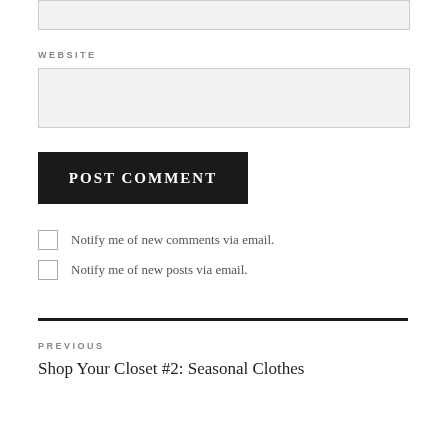[input box top - partial]
WEBSITE
[website input field]
POST COMMENT
Notify me of new comments via email.
Notify me of new posts via email.
PREVIOUS
Shop Your Closet #2: Seasonal Clothes